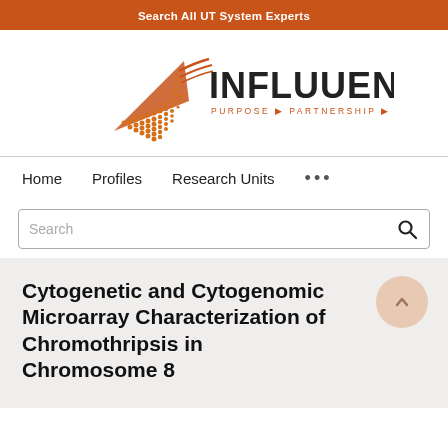Search All UT System Experts
[Figure (logo): Influuent logo with orange geometric shape and text: INFLUUENT, PURPOSE PARTNERSHIP PROGRESS]
Home   Profiles   Research Units   ...
Search
Cytogenetic and Cytogenomic Microarray Characterization of Chromothripsis in Chromosome 8